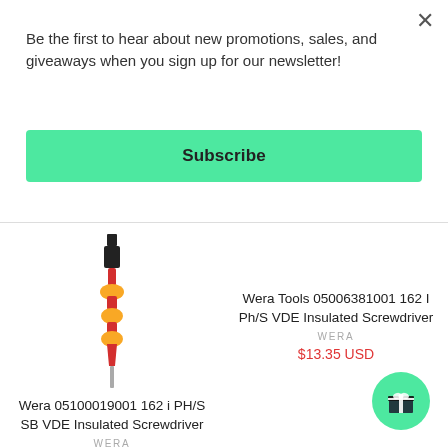Be the first to hear about new promotions, sales, and giveaways when you sign up for our newsletter!
Subscribe
[Figure (illustration): Red and yellow insulated screwdriver (Wera VDE) shown vertically with black handle grip at top]
Wera 05100019001 162 i PH/S SB VDE Insulated Screwdriver
WERA
$11.68 USD
Wera Tools 05006381001 162 I Ph/S VDE Insulated Screwdriver
WERA
$13.35 USD